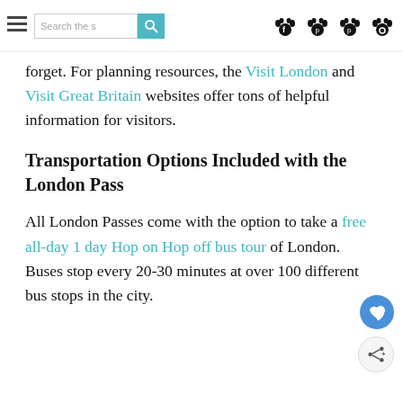Search the s [search button] [paw icons]
forget. For planning resources, the Visit London and Visit Great Britain websites offer tons of helpful information for visitors.
Transportation Options Included with the London Pass
All London Passes come with the option to take a free all-day 1 day Hop on Hop off bus tour of London. Buses stop every 20-30 minutes at over 100 different bus stops in the city.